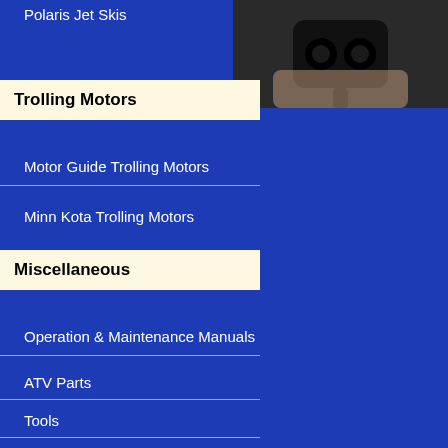Polaris Jet Skis
Trolling Motors
Motor Guide Trolling Motors
Minn Kota Trolling Motors
Miscellaneous
Operation & Maintenance Manuals
ATV Parts
Tools
Odds & Ends
[Figure (photo): Close-up photo of a connector or plug, dark colored, held by a hand, against dark background]